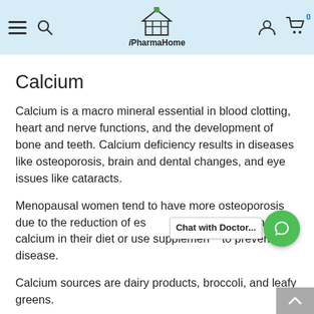iPharmaHome
Calcium
Calcium is a macro mineral essential in blood clotting, heart and nerve functions, and the development of bone and teeth. Calcium deficiency results in diseases like osteoporosis, brain and dental changes, and eye issues like cataracts.
Menopausal women tend to have more osteoporosis due to the reduction of estrogen. They need to include calcium in their diet or use supplements to prevent this disease.
Calcium sources are dairy products, broccoli, and leafy greens.